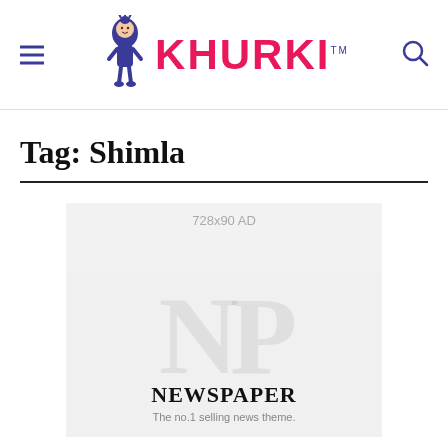KHURKI
Tag: Shimla
[Figure (other): 728x90 AD placeholder banner in light gray, followed by a newspaper theme advertisement card showing watermark letters 'NP' with text 'NEWSPAPER' and subtitle 'The no.1 selling news theme.']